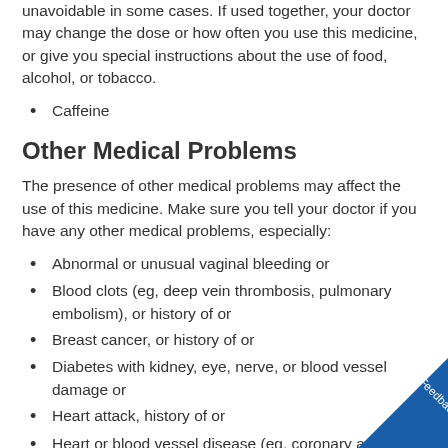unavoidable in some cases. If used together, your doctor may change the dose or how often you use this medicine, or give you special instructions about the use of food, alcohol, or tobacco.
Caffeine
Other Medical Problems
The presence of other medical problems may affect the use of this medicine. Make sure you tell your doctor if you have any other medical problems, especially:
Abnormal or unusual vaginal bleeding or
Blood clots (eg, deep vein thrombosis, pulmonary embolism), or history of or
Breast cancer, or history of or
Diabetes with kidney, eye, nerve, or blood vessel damage or
Heart attack, history of or
Heart or blood vessel disease (eg, coronary artery disease, heart valve problems), or history of or
Hypertension (high blood pressure), uncontrolled